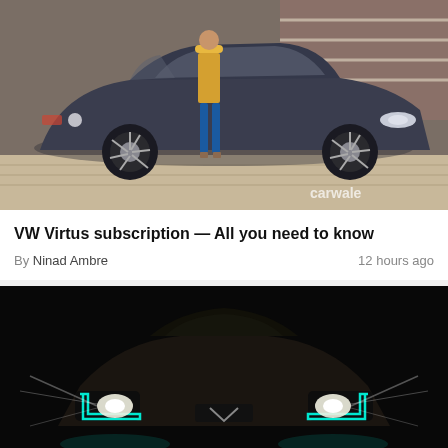[Figure (photo): A dark grey/navy Volkswagen Virtus sedan parked outdoors with a woman in yellow top and blue pants standing beside it. CarWale watermark visible in bottom right corner.]
VW Virtus subscription — All you need to know
By Ninad Ambre   12 hours ago
[Figure (photo): A car photographed head-on in darkness, showing bright LED headlights and DRLs illuminated against a black background.]